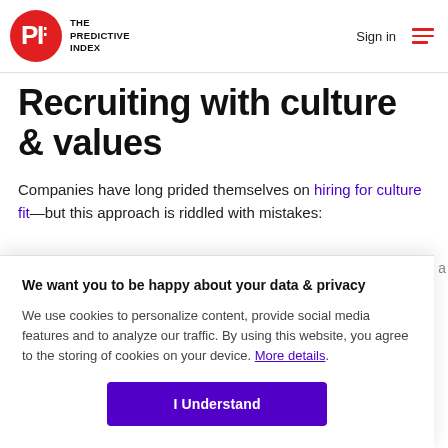THE PREDICTIVE INDEX — Sign in
Recruiting with culture & values
Companies have long prided themselves on hiring for culture fit—but this approach is riddled with mistakes:
We want you to be happy about your data & privacy
We use cookies to personalize content, provide social media features and to analyze our traffic. By using this website, you agree to the storing of cookies on your device. More details.
I Understand